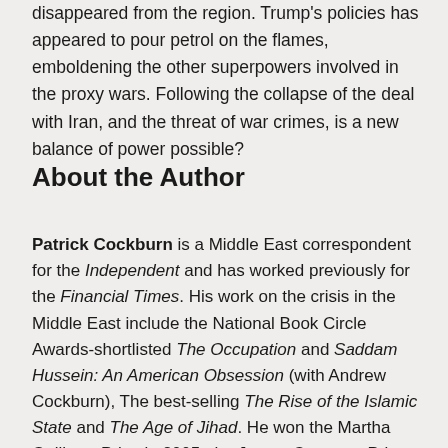disappeared from the region. Trump's policies has appeared to pour petrol on the flames, emboldening the other superpowers involved in the proxy wars. Following the collapse of the deal with Iran, and the threat of war crimes, is a new balance of power possible?
About the Author
Patrick Cockburn is a Middle East correspondent for the Independent and has worked previously for the Financial Times. His work on the crisis in the Middle East include the National Book Circle Awards-shortlisted The Occupation and Saddam Hussein: An American Obsession (with Andrew Cockburn), The best-selling The Rise of the Islamic State and The Age of Jihad. He won the Martha Gellhorn Prize in 2005, the James Cameron Prize in 2006, and the Orwell Prize for Journalism in 2009. More recently he has been awarded Foreign Commentator of the Year at the